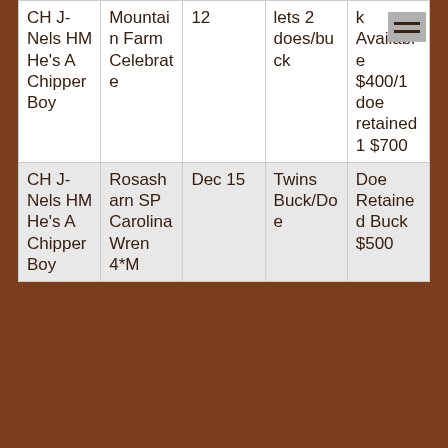| CH J-Nels HM He's A Chipper Boy | Mountain Farm Celebrate | 12 | lets 2 does/buck | k Available $400/1 doe retained 1 $700 |
| CH J-Nels HM He's A Chipper Boy | Rosasharn SP Carolina Wren 4*M | Dec 15 | Twins Buck/Doe | Doe Retained Buck $500 |